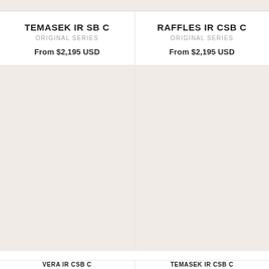TEMASEK IR SB C
ORIGINAL SERIES
From $2,195 USD
RAFFLES IR CSB C
ORIGINAL SERIES
From $2,195 USD
[Figure (photo): Product image placeholder - beige/cream background left panel]
[Figure (photo): Product image placeholder - beige/cream background right panel]
VERA IR CSB C
TEMASEK IR CSB C